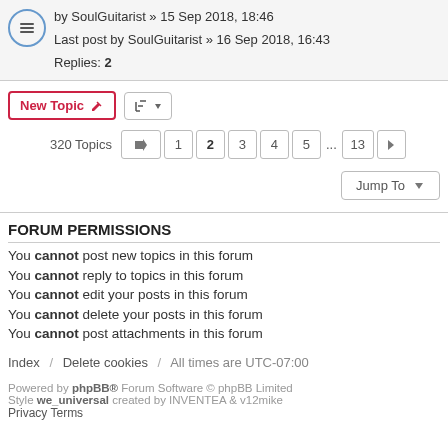by SoulGuitarist » 15 Sep 2018, 18:46
Last post by SoulGuitarist » 16 Sep 2018, 16:43
Replies: 2
New Topic | sort button | 320 Topics | pagination: 1 2 3 4 5 ... 13 >
Jump To
FORUM PERMISSIONS
You cannot post new topics in this forum
You cannot reply to topics in this forum
You cannot edit your posts in this forum
You cannot delete your posts in this forum
You cannot post attachments in this forum
Index / Delete cookies / All times are UTC-07:00
Powered by phpBB® Forum Software © phpBB Limited
Style we_universal created by INVENTEA & v12mike
Privacy Terms